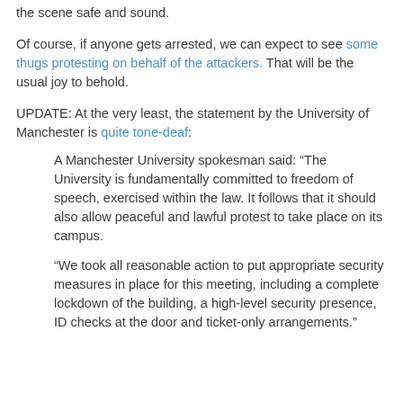the scene safe and sound.
Of course, if anyone gets arrested, we can expect to see some thugs protesting on behalf of the attackers. That will be the usual joy to behold.
UPDATE: At the very least, the statement by the University of Manchester is quite tone-deaf:
A Manchester University spokesman said: “The University is fundamentally committed to freedom of speech, exercised within the law. It follows that it should also allow peaceful and lawful protest to take place on its campus.
“We took all reasonable action to put appropriate security measures in place for this meeting, including a complete lockdown of the building, a high-level security presence, ID checks at the door and ticket-only arrangements.”